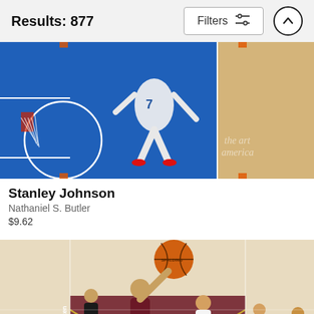Results: 877
[Figure (screenshot): Filters button with sliders icon]
[Figure (photo): Aerial view of NBA basketball court with player number 7 in white uniform near the basket]
Stanley Johnson
Nathaniel S. Butler
$9.62
[Figure (photo): NBA basketball game action shot with player in Cavaliers uniform reaching for ball near basket, with Warriors players in background at Quicken Loans Arena]